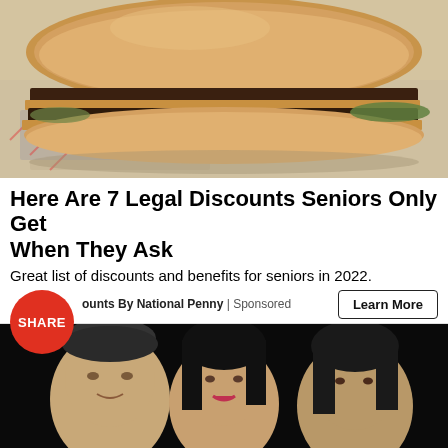[Figure (photo): Close-up photo of a large double-patty burger with cheese and pickles on white wrapper with red pattern]
Here Are 7 Legal Discounts Seniors Only Get When They Ask
Great list of discounts and benefits for seniors in 2022.
Senior Discounts By National Penny | Sponsored
[Figure (photo): Photo of three people (a man and two women) posing together in a dark setting]